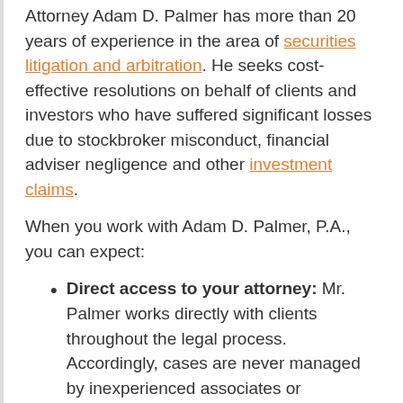Attorney Adam D. Palmer has more than 20 years of experience in the area of securities litigation and arbitration. He seeks cost-effective resolutions on behalf of clients and investors who have suffered significant losses due to stockbroker misconduct, financial adviser negligence and other investment claims.
When you work with Adam D. Palmer, P.A., you can expect:
Direct access to your attorney: Mr. Palmer works directly with clients throughout the legal process. Accordingly, cases are never managed by inexperienced associates or paralegals, though on occasion the firm may work with other practitioners and independent